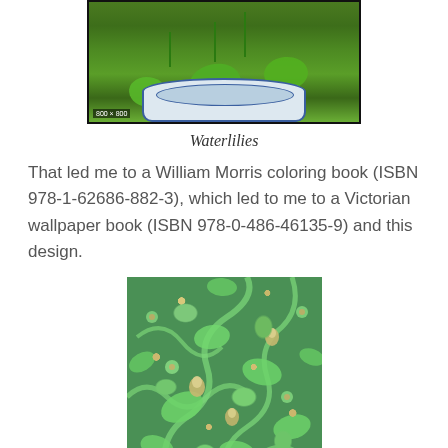[Figure (photo): Photo of waterlilies / lotus plants in a blue and white decorative pot, with green lily pads. Labeled '800×800' in bottom-left corner.]
Waterlilies
That led me to a William Morris coloring book (ISBN 978-1-62686-882-3), which led to me to a Victorian wallpaper book (ISBN 978-0-486-46135-9) and this design.
[Figure (photo): Victorian floral wallpaper design with green background featuring scrolling vines, stylized flowers and leaves in lighter green and tan/cream tones — William Morris style pattern.]